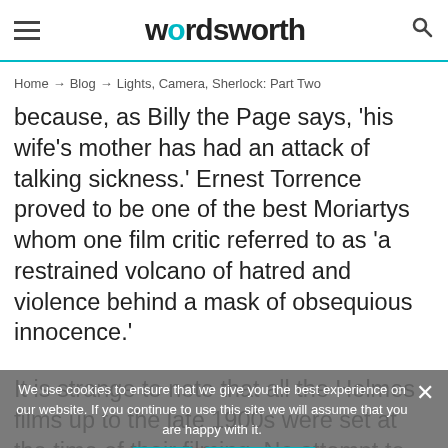wordsworth
Home → Blog → Lights, Camera, Sherlock: Part Two
because, as Billy the Page says, 'his wife's mother has had an attack of talking sickness.' Ernest Torrence proved to be one of the best Moriartys whom one film critic referred to as 'a restrained volcano of hatred and violence behind a mask of obsequious innocence.'
It is strange to note that all the Holmes films up to the late 1900s were set at the time of their filming. No attempt to create a Victorian milieu was ever attempted. It was to be Twentieth Century Fox in Hollywood
We use cookies to ensure that we give you the best experience on our website. If you continue to use this site we will assume that you are happy with it.